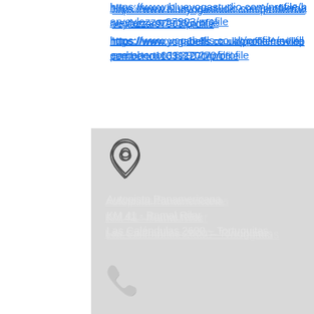https://www.blueyogastudio.com/profile/harveylazzar97903/profile
https://www.yogabells.co.uk/profile/nevillepemberton16391270/profile
[Figure (illustration): Map pin / location marker icon, outline style, dark border on light gray background]
Autopista Panamericana
KM 41 - Ramal Rilar
Las Caléndulas 2600 – Tortuguitas
[Figure (illustration): White telephone handset icon on light gray background]
02320.407676
02320.407677
02320.407678
[Figure (illustration): Dark navy envelope / email icon on light gray background]
godspell@godspellcollege.com.ar